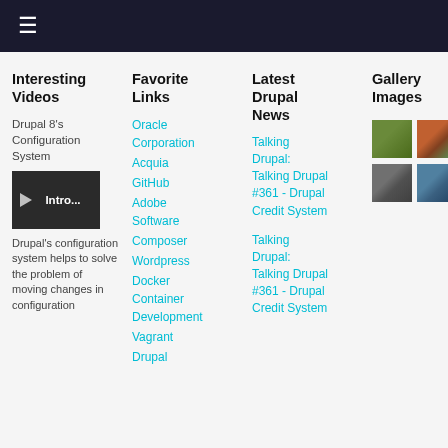≡
Interesting Videos
Drupal 8's Configuration System
[Figure (screenshot): Video thumbnail showing 'Intro...' with play button on dark background]
Drupal's configuration system helps to solve the problem of moving changes in configuration
Favorite Links
Oracle Corporation
Acquia
GitHub
Adobe Software
Composer
Wordpress
Docker Container Development
Vagrant
Drupal
Latest Drupal News
Talking Drupal: Talking Drupal #361 - Drupal Credit System
Talking Drupal: Talking Drupal #361 - Drupal Credit System
Gallery Images
[Figure (photo): Four small gallery thumbnail images in two rows]
Contact